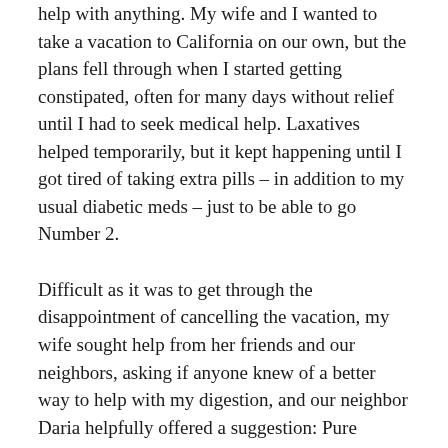help with anything. My wife and I wanted to take a vacation to California on our own, but the plans fell through when I started getting constipated, often for many days without relief until I had to seek medical help. Laxatives helped temporarily, but it kept happening until I got tired of taking extra pills – in addition to my usual diabetic meds – just to be able to go Number 2.
Difficult as it was to get through the disappointment of cancelling the vacation, my wife sought help from her friends and our neighbors, asking if anyone knew of a better way to help with my digestion, and our neighbor Daria helpfully offered a suggestion: Pure Natural Healing. It sounded way too good to be true – how can I cure my constipation problem without pills or a change of diet and if there really was a way, why haven't my doctor already recommended it to me?